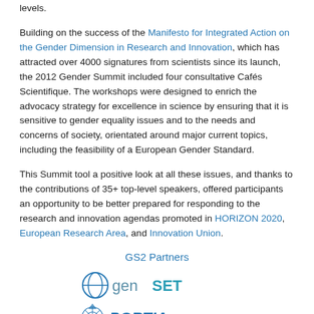levels.
Building on the success of the Manifesto for Integrated Action on the Gender Dimension in Research and Innovation, which has attracted over 4000 signatures from scientists since its launch, the 2012 Gender Summit included four consultative Cafés Scientifique. The workshops were designed to enrich the advocacy strategy for excellence in science by ensuring that it is sensitive to gender equality issues and to the needs and concerns of society, orientated around major current topics, including the feasibility of a European Gender Standard.
This Summit tool a positive look at all these issues, and thanks to the contributions of 35+ top-level speakers, offered participants an opportunity to be better prepared for responding to the research and innovation agendas promoted in HORIZON 2020, European Research Area, and Innovation Union.
GS2 Partners
[Figure (logo): genSET logo — circular icon with stylized G and text 'genSET' in blue and teal]
[Figure (logo): PORTIA logo — spider web icon with text 'PORTIA' in blue]
[Figure (logo): ESF logo (partially visible)]